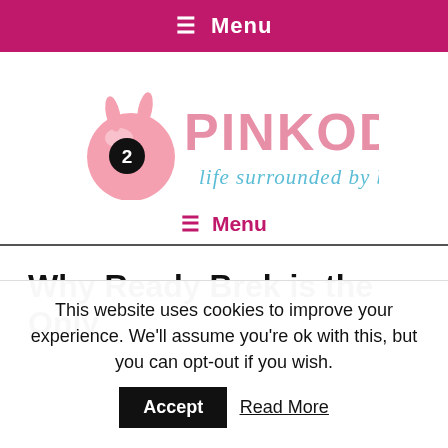≡ Menu
[Figure (logo): Pinkoddy blog logo — a pink ball with bunny ears and the number 2, next to the text 'PINKODDY' in pink block letters and 'life surrounded by blues' in blue cursive]
≡ Menu
Why Ready Brek is the Only
This website uses cookies to improve your experience. We'll assume you're ok with this, but you can opt-out if you wish. Accept Read More